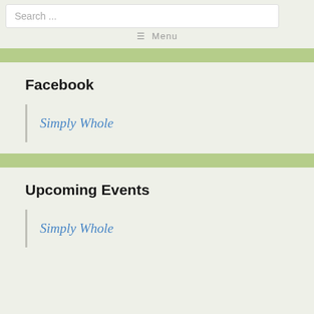Search ...   ≡ Menu
Facebook
Simply Whole
Upcoming Events
Simply Whole